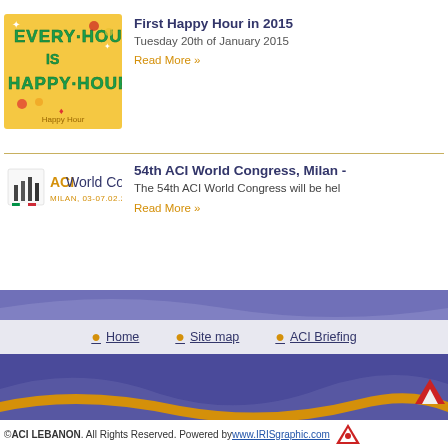[Figure (illustration): Yellow background image with green and teal bubble lettering reading EVERY HOUR IS HAPPY HOUR with cocktail glasses and decorations]
First Happy Hour in 2015
Tuesday 20th of January 2015
Read More »
[Figure (logo): ACI World Congress logo - Milan, 03-07.02.2015 with Assoni Forex emblem]
54th ACI World Congress, Milan -
The 54th ACI World Congress will be hel
Read More »
Home   Site map   ACI Briefing
© ACI LEBANON. All Rights Reserved. Powered by www.IRISgraphic.com